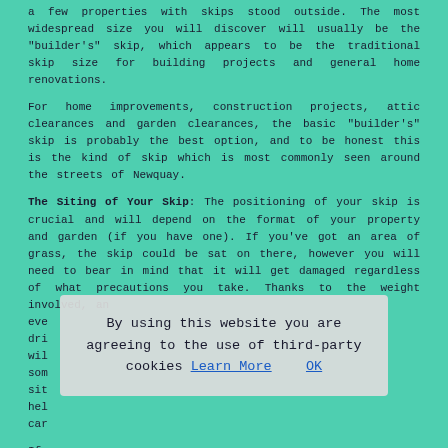a few properties with skips stood outside. The most widespread size you will discover will usually be the "builder's" skip, which appears to be the traditional skip size for building projects and general home renovations.
For home improvements, construction projects, attic clearances and garden clearances, the basic "builder's" skip is probably the best option, and to be honest this is the kind of skip which is most commonly seen around the streets of Newquay.
The Siting of Your Skip: The positioning of your skip is crucial and will depend on the format of your property and garden (if you have one). If you've got an area of grass, the skip could be sat on there, however you will need to bear in mind that it will get damaged regardless of what precautions you take. Thanks to the weight involved, an eve[...]ate dri[...]you wil[...]ive som[...]men sit[...]to hel[...]kip car[...]
[Figure (other): Cookie consent overlay: 'By using this website you are agreeing to the use of third-party cookies Learn More  OK']
If [...] ave enc[...] to position the skip on the road outside your property in